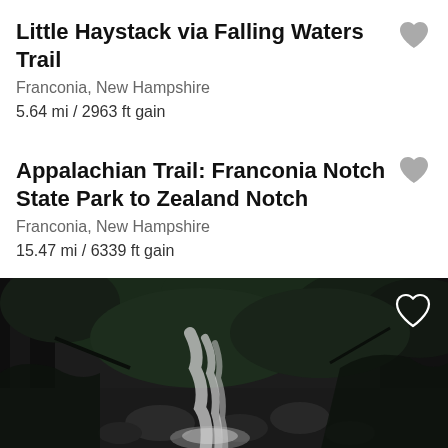Little Haystack via Falling Waters Trail
Franconia, New Hampshire
5.64 mi / 2963 ft gain
Appalachian Trail: Franconia Notch State Park to Zealand Notch
Franconia, New Hampshire
15.47 mi / 6339 ft gain
[Figure (photo): Dark forest waterfall scene with rocky stream and overhanging trees, with a heart/favorite icon in the top-right corner]